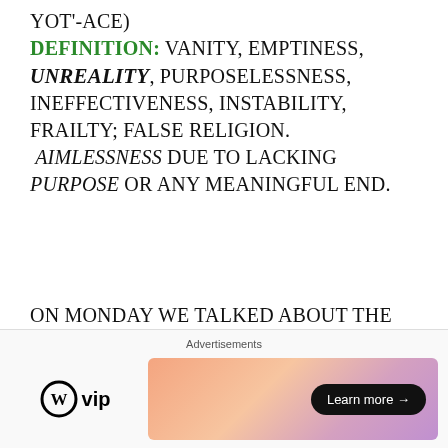YOT'-ACE) DEFINITION: VANITY, EMPTINESS, UNREALITY, PURPOSELESSNESS, INEFFECTIVENESS, INSTABILITY, FRAILTY; FALSE RELIGION. AIMLESSNESS DUE TO LACKING PURPOSE OR ANY MEANINGFUL END.
ON MONDAY WE TALKED ABOUT THE SCRIPTURE ROMANS 8:19 AND HOW ALL OF CREATION IS WAITING EAGERLY FOR THE SONS OF GOD TO
[Figure (other): WordPress VIP advertisement banner with Learn more button]